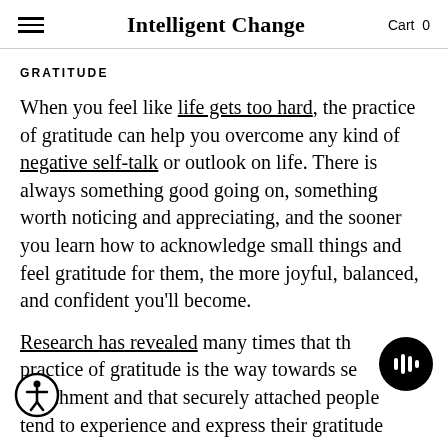Intelligent Change  Cart 0
GRATITUDE
When you feel like life gets too hard, the practice of gratitude can help you overcome any kind of negative self-talk or outlook on life. There is always something good going on, something worth noticing and appreciating, and the sooner you learn how to acknowledge small things and feel gratitude for them, the more joyful, balanced, and confident you'll become.
Research has revealed many times that the practice of gratitude is the way towards secure attachment and that securely attached people tend to experience and express their gratitude